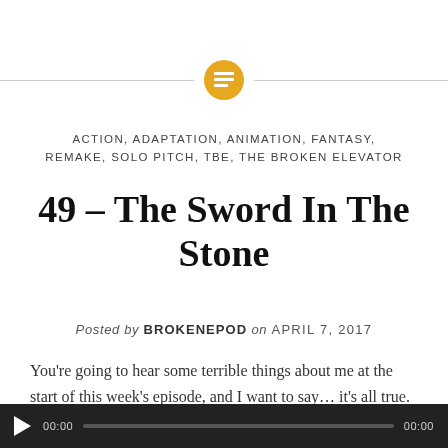[Figure (other): Decorative horizontal divider with a golden/amber circle icon containing a list/lines symbol in the center, flanked by thin gray lines on either side.]
ACTION, ADAPTATION, ANIMATION, FANTASY, REMAKE, SOLO PITCH, TBE, THE BROKEN ELEVATOR
49 – The Sword In The Stone
Posted by BROKENEPOD on APRIL 7, 2017
You're going to hear some terrible things about me at the start of this week's episode, and I want to say… it's all true. Have a listen!
[Figure (screenshot): Audio player widget with dark background, play button (triangle), time display 00:00, progress bar, and end time 00:00.]